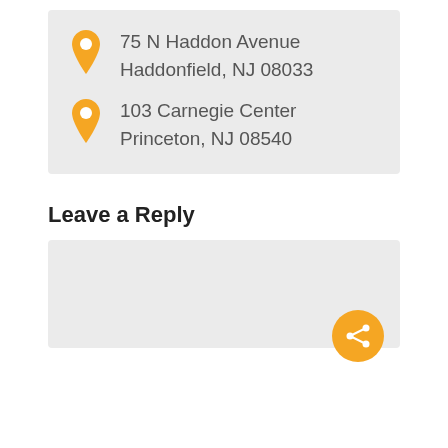75 N Haddon Avenue Haddonfield, NJ 08033
103 Carnegie Center Princeton, NJ 08540
Leave a Reply
[Figure (other): Text input reply box with orange share/connect button in bottom right corner]